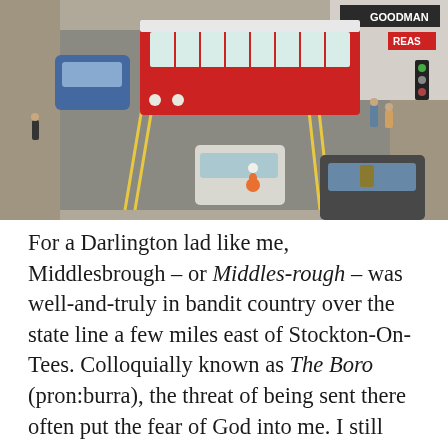[Figure (photo): Overhead view of a busy UK high street from the 1970s or 1980s showing a red and white single-decker bus, several cars, pedestrians, a cyclist in orange, and shops including 'GOODMAN' and 'REAS' visible in the background.]
For a Darlington lad like me, Middlesbrough – or Middles-rough – was well-and-truly in bandit country over the state line a few miles east of Stockton-On-Tees. Colloquially known as The Boro (pron:burra), the threat of being sent there often put the fear of God into me. I still